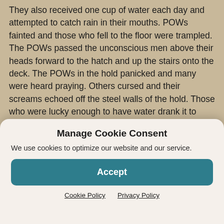They also received one cup of water each day and attempted to catch rain in their mouths. POWs fainted and those who fell to the floor were trampled. The POWs passed the unconscious men above their heads forward to the hatch and up the stairs onto the deck. The POWs in the hold panicked and many were heard praying. Others cursed and their screams echoed off the steel walls of the hold. Those who were lucky enough to have water drank it to prevent their canteens from being stolen. Some men were so desperate that they drank their own urine.
Manage Cookie Consent
We use cookies to optimize our website and our service.
Accept
Cookie Policy  Privacy Policy